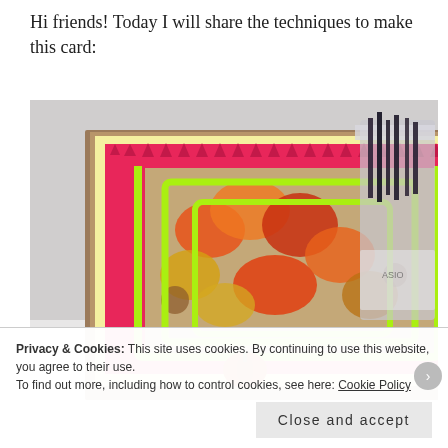Hi friends! Today I will share the techniques to make this card:
[Figure (photo): A handmade greeting card with autumn leaf theme. The card features a hot pink/red background with layered neon yellow-green die-cut frames in a decorative shape, stamped and colored fall leaves (maple leaves, acorns) on kraft paper background. Red paper leaf embellishments line the top edge. A jar with pencils/markers is visible on the right side. A small pumpkin embellishment is at the bottom center.]
Privacy & Cookies: This site uses cookies. By continuing to use this website, you agree to their use.
To find out more, including how to control cookies, see here: Cookie Policy
Close and accept